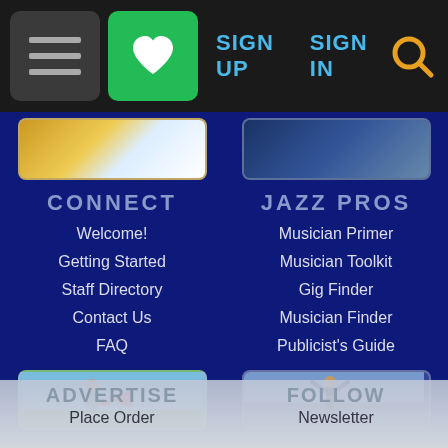Navigation bar with hamburger menu, favorites, SIGN UP, SIGN IN, search
[Figure (screenshot): Partial top image thumbnail on left - yellow/person]
CONNECT
Welcome!
Getting Started
Staff Directory
Contact Us
FAQ
[Figure (screenshot): Partial top image thumbnail on right - crowd/music]
JAZZ PROS
Musician Primer
Musician Toolkit
Gig Finder
Musician Finder
Publicist's Guide
[Figure (photo): Man in suit with red megaphone/bullhorn on grass - advertise section]
[Figure (photo): Musician with trombone raised in crowd at outdoor concert - follow section]
ADVERTISE
Place Order
FOLLOW
Newsletter